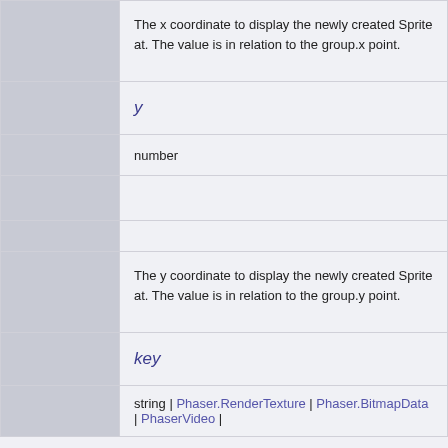|  | The x coordinate to display the newly created Sprite at. The value is in relation to the group.x point. |
|  | y |
|  | number |
|  |  |
|  |  |
|  | The y coordinate to display the newly created Sprite at. The value is in relation to the group.y point. |
|  | key |
|  | string | Phaser.RenderTexture | Phaser.BitmapData | PhaserVideo | |